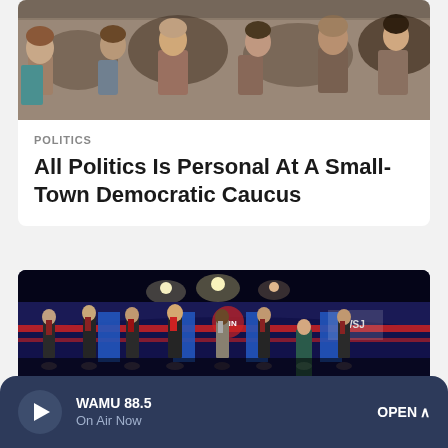[Figure (photo): Audience members seated at a small-town Democratic caucus event, seen from behind]
POLITICS
All Politics Is Personal At A Small-Town Democratic Caucus
[Figure (photo): Republican presidential debate stage with eight candidates standing at their podiums, red and blue stage decor, bright overhead lights]
WAMU 88.5  On Air Now  OPEN ^